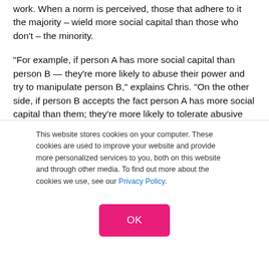work. When a norm is perceived, those that adhere to it the majority – wield more social capital than those who don't – the minority.
“For example, if person A has more social capital than person B — they’re more likely to abuse their power and try to manipulate person B,” explains Chris. “On the other side, if person B accepts the fact person A has more social capital than them; they’re more likely to tolerate abusive behavior from person A. This is what puts marginalized people at greater risk of being victimized.”
In a recent social experiment, a “What’s the Flip?” video
This website stores cookies on your computer. These cookies are used to improve your website and provide more personalized services to you, both on this website and through other media. To find out more about the cookies we use, see our Privacy Policy.